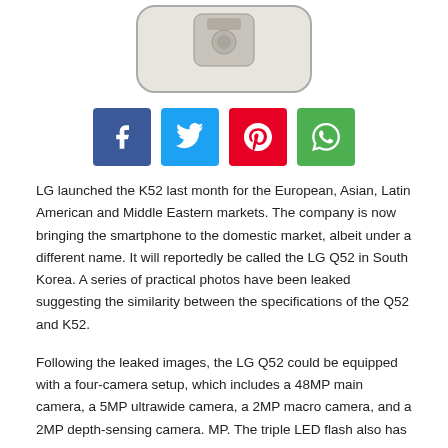[Figure (photo): Back of a smartphone (LG Q52/K52) showing camera module, rendered as a light-colored phone shape]
[Figure (infographic): Four social media sharing buttons: Facebook (blue), Twitter (light blue), Pinterest (red), WhatsApp (green)]
LG launched the K52 last month for the European, Asian, Latin American and Middle Eastern markets. The company is now bringing the smartphone to the domestic market, albeit under a different name. It will reportedly be called the LG Q52 in South Korea. A series of practical photos have been leaked suggesting the similarity between the specifications of the Q52 and K52.
Following the leaked images, the LG Q52 could be equipped with a four-camera setup, which includes a 48MP main camera, a 5MP ultrawide camera, a 2MP macro camera, and a 2MP depth-sensing camera. MP. The triple LED flash also has